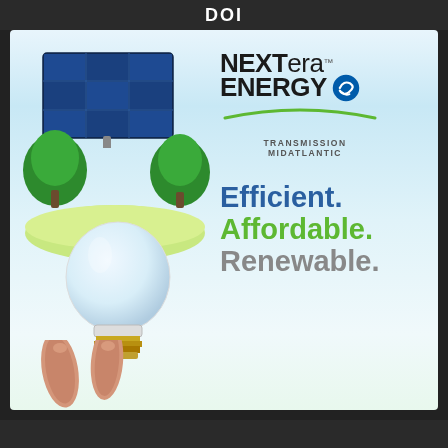DOI
[Figure (illustration): Advertisement for NextEra Energy Transmission MidAtlantic. Left side shows a hand holding an LED lightbulb with solar panels and green trees on top. Right side shows the NextEra Energy logo with taglines: Efficient. Affordable. Renewable.]
NEXT era ENERGY TRANSMISSION MIDATLANTIC
Efficient. Affordable. Renewable.